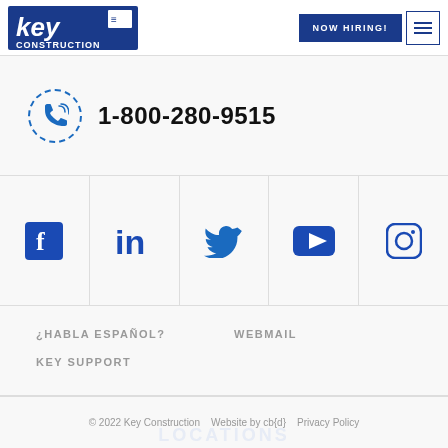[Figure (logo): Key Construction logo — blue stylized 'key' text with 'CONSTRUCTION' below, blue rectangular background]
NOW HIRING!
1-800-280-9515
[Figure (infographic): Row of 5 social media icons: Facebook, LinkedIn, Twitter, YouTube, Instagram — all in blue]
¿HABLA ESPAÑOL?
WEBMAIL
KEY SUPPORT
© 2022 Key Construction   Website by cb{d}   Privacy Policy